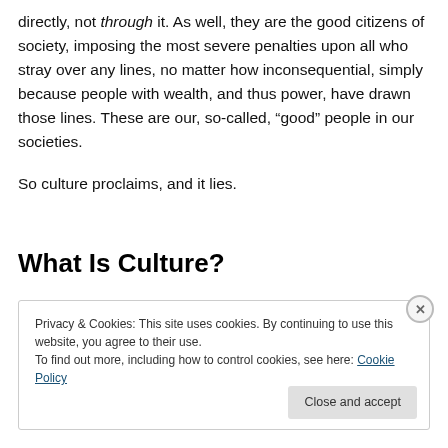directly, not through it. As well, they are the good citizens of society, imposing the most severe penalties upon all who stray over any lines, no matter how inconsequential, simply because people with wealth, and thus power, have drawn those lines. These are our, so-called, “good” people in our societies.
So culture proclaims, and it lies.
What Is Culture?
Privacy & Cookies: This site uses cookies. By continuing to use this website, you agree to their use.
To find out more, including how to control cookies, see here: Cookie Policy
Close and accept